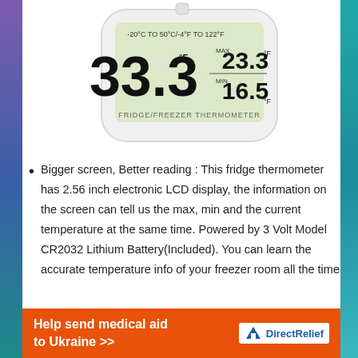[Figure (photo): White digital fridge/freezer thermometer with LCD display showing 33.3°F current temperature, max 23.3°F and min 16.5°F, range -20°C to 50°C / -4°F to 122°F]
Bigger screen, Better reading : This fridge thermometer has 2.56 inch electronic LCD display, the information on the screen can tell us the max, min and the current temperature at the same time. Powered by 3 Volt Model CR2032 Lithium Battery(Included). You can learn the accurate temperature info of your freezer room all the time
Help send medical aid to Ukraine >> DirectRelief